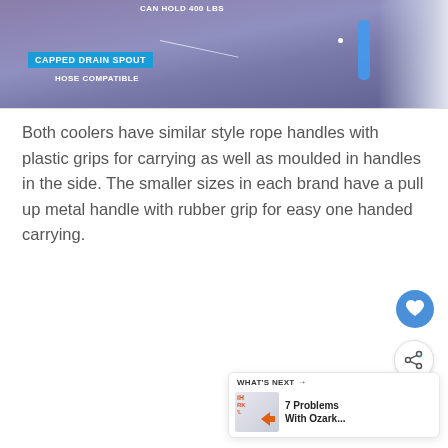[Figure (screenshot): Screenshot of a cooler product video showing a capped drain spout with labels: 'CAN HOLD 400 LBS', 'CAPPED DRAIN SPOUT', 'HOSE COMPATIBLE']
Both coolers have similar style rope handles with plastic grips for carrying as well as moulded in handles in the side. The smaller sizes in each brand have a pull up metal handle with rubber grip for easy one handed carrying.
[Figure (screenshot): UI elements: heart/favorite button (blue circle), share button (white circle with share icon), and a 'What's Next' recommendation card showing '7 Problems With Ozark...']